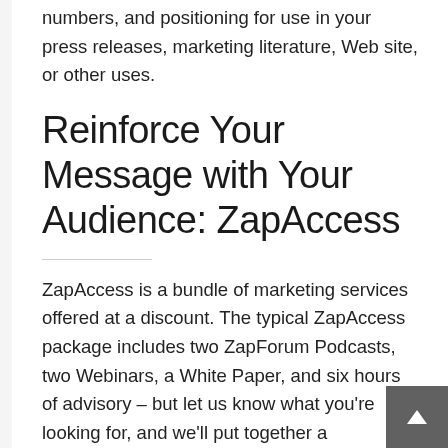numbers, and positioning for use in your press releases, marketing literature, Web site, or other uses.
Reinforce Your Message with Your Audience: ZapAccess
ZapAccess is a bundle of marketing services offered at a discount. The typical ZapAccess package includes two ZapForum Podcasts, two Webinars, a White Paper, and six hours of advisory – but let us know what you're looking for, and we'll put together a ZapAccess package that meets your needs.